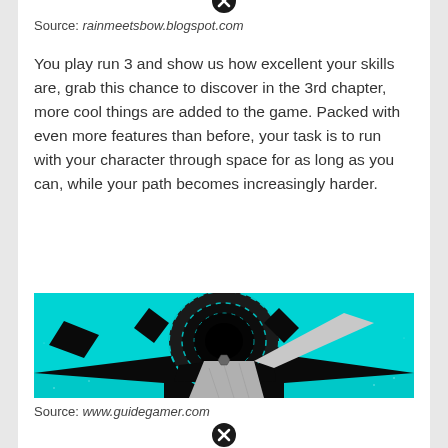Source: rainmeetsbow.blogspot.com
You play run 3 and show us how excellent your skills are, grab this chance to discover in the 3rd chapter, more cool things are added to the game. Packed with even more features than before, your task is to run with your character through space for as long as you can, while your path becomes increasingly harder.
[Figure (screenshot): Screenshot of Run 3 game showing a 3D tunnel in space with cyan/turquoise and black geometric panels, a character running on a grey path leading into a circular tunnel portal.]
Source: www.guidegamer.com